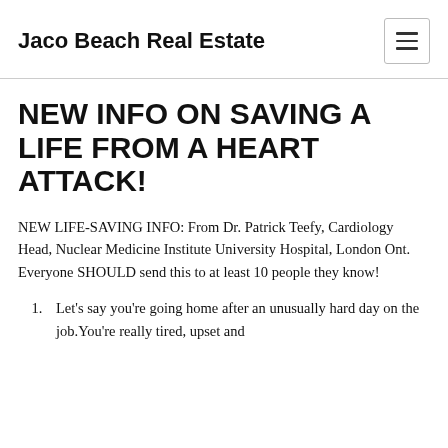Jaco Beach Real Estate
NEW INFO ON SAVING A LIFE FROM A HEART ATTACK!
NEW LIFE-SAVING INFO: From Dr. Patrick Teefy, Cardiology Head, Nuclear Medicine Institute University Hospital, London Ont.
Everyone SHOULD send this to at least 10 people they know!
Let's say you're going home after an unusually hard day on the job.You're really tired, upset and